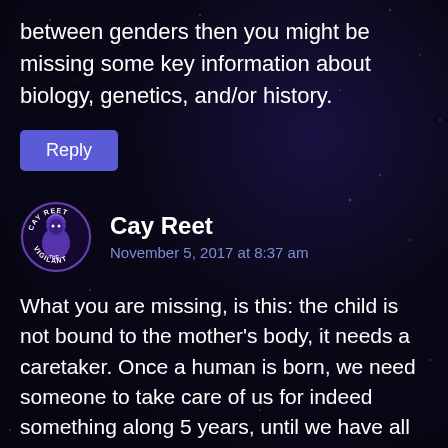between genders then you might be missing some key information about biology, genetics, and/or history.
[Figure (other): Reply button - blue rounded rectangle with white text 'Reply']
[Figure (other): Cay Reet commenter avatar - circular badge with vigilante/knight graphic and text 'CAY REET VIGILANT']
Cay Reet
November 5, 2017 at 8:37 am
What you are missing, is this: the child is not bound to the mother's body, it needs a caretaker. Once a human is born, we need someone to take care of us for indeed something along 5 years, until we have all basics of regular life down. But this person